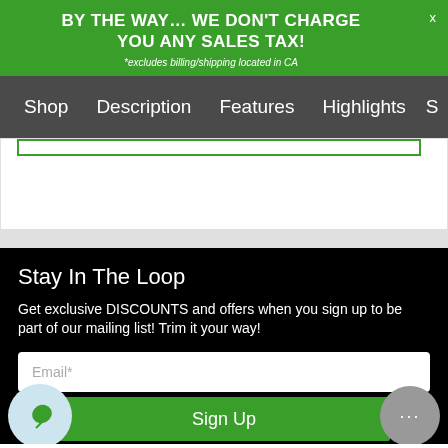BY THE WAY… WE DON'T CHARGE YOU ANY SALES TAX! *excludes billing/shipping located in CA
Shop  Description  Features  Highlights  S
Stay In The Loop
Get exclusive DISCOUNTS and offers when you sign up to be part of our mailing list! Trim it your way!
Email*
Sign Up